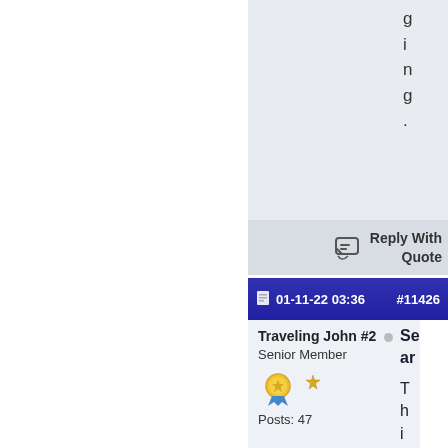g i n g .
Reply With Quote
01-11-22 03:36  #11426
Traveling John #2
Senior Member
Posts: 47
Se ar
T h i s h a s w o r k e d f o r